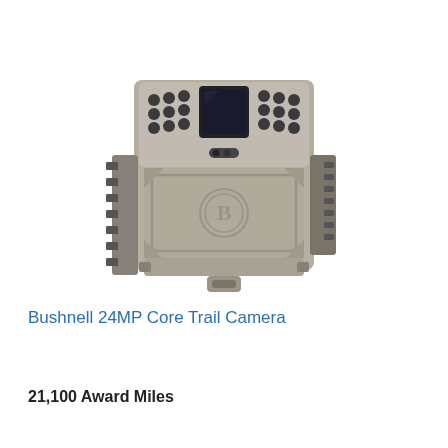[Figure (photo): A Bushnell 24MP Core Trail Camera shown from the front and slightly above, in a grey/tan housing with IR LEDs surrounding a motion sensor lens, Bushnell logo embossed on front panel, and mounting bracket visible.]
Bushnell 24MP Core Trail Camera
21,100 Award Miles